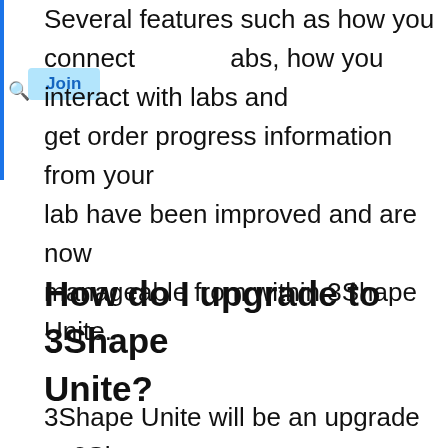Several features such as how you connect labs, how you interact with labs and get order progress information from your lab have been improved and are now manageable from within 3Shape Unite.
How do I upgrade to 3Shape Unite?
3Shape Unite will be an upgrade to 3Shape Dental Desktop, and will therefore replace